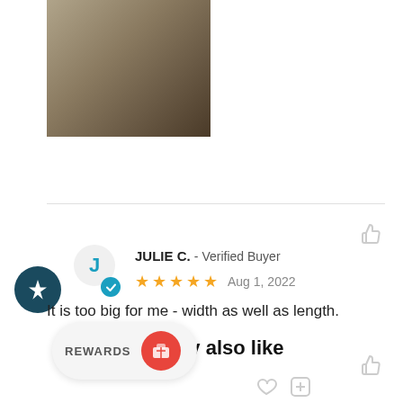[Figure (photo): Product image thumbnail showing a dark-toned rug or textile item]
JULIE C.  -  Verified Buyer
★★★★★  Aug 1, 2022
It is too big for me - width as well as length.
You may also like
REWARDS